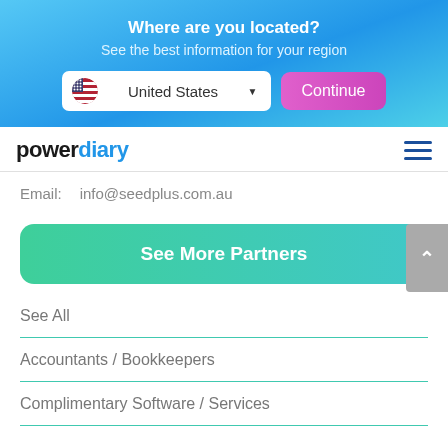Where are you located?
See the best information for your region
[Figure (screenshot): Location selector with United States flag and dropdown, plus Continue button]
[Figure (logo): Power Diary logo with hamburger menu icon]
Email:    info@seedplus.com.au
See More Partners
See All
Accountants / Bookkeepers
Complimentary Software / Services